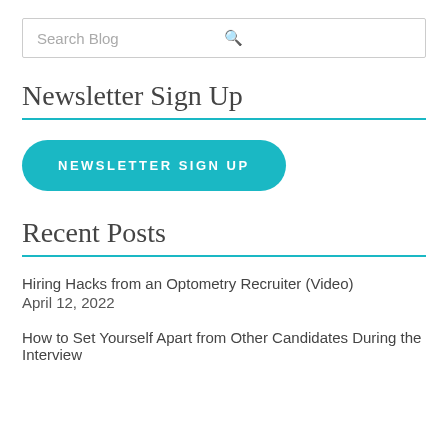Search Blog
Newsletter Sign Up
NEWSLETTER SIGN UP
Recent Posts
Hiring Hacks from an Optometry Recruiter (Video)
April 12, 2022
How to Set Yourself Apart from Other Candidates During the Interview